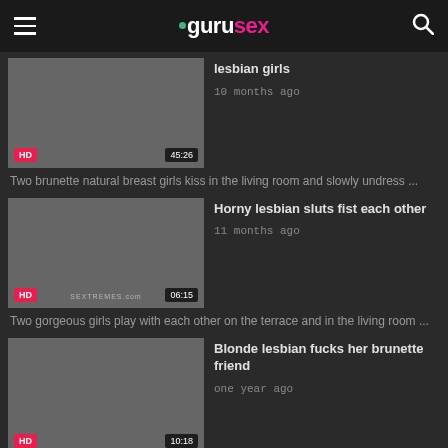gurusex
lesbian girls
10 months ago
Two brunette natural breast girls kiss in the living room and slowly undress ...
Horny lesbian sluts fist each other
11 months ago
Two gorgeous girls play with each other on the terrace and in the living room ...
Blonde lesbian fucks her brunette friend
one year ago